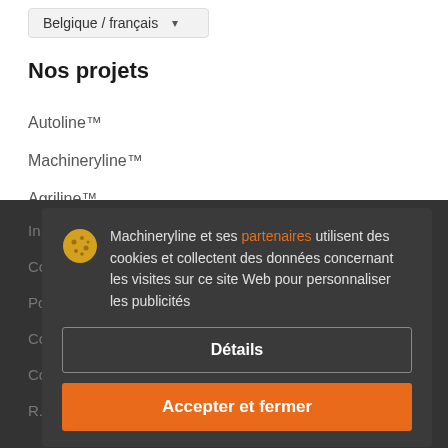Belgique / français
Nos projets
Autoline™
Machineryline™
Agriline™
Machineryline et ses partenaires utilisent des cookies et collectent des données concernant les visites sur ce site Web pour personnaliser les publicités
Détails
Accepter et fermer